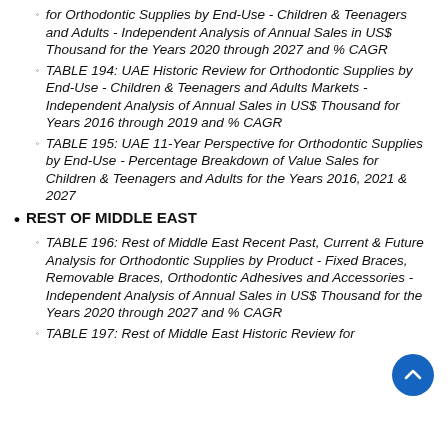TABLE 193: UAE Recent Past, Current & Future Analysis for Orthodontic Supplies by End-Use - Children & Teenagers and Adults - Independent Analysis of Annual Sales in US$ Thousand for the Years 2020 through 2027 and % CAGR
TABLE 194: UAE Historic Review for Orthodontic Supplies by End-Use - Children & Teenagers and Adults Markets - Independent Analysis of Annual Sales in US$ Thousand for Years 2016 through 2019 and % CAGR
TABLE 195: UAE 11-Year Perspective for Orthodontic Supplies by End-Use - Percentage Breakdown of Value Sales for Children & Teenagers and Adults for the Years 2016, 2021 & 2027
REST OF MIDDLE EAST
TABLE 196: Rest of Middle East Recent Past, Current & Future Analysis for Orthodontic Supplies by Product - Fixed Braces, Removable Braces, Orthodontic Adhesives and Accessories - Independent Analysis of Annual Sales in US$ Thousand for the Years 2020 through 2027 and % CAGR
TABLE 197: Rest of Middle East Historic Review for Orthodontic Supplies